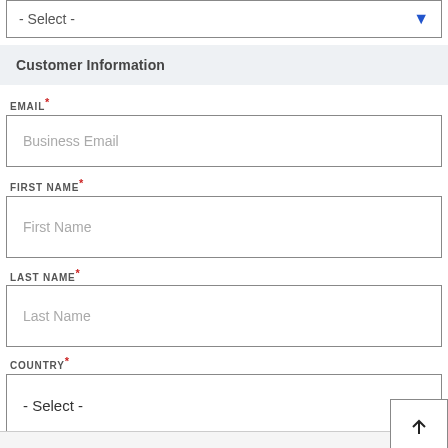- Select -
Customer Information
EMAIL *
Business Email
FIRST NAME *
First Name
LAST NAME *
Last Name
COUNTRY *
- Select -